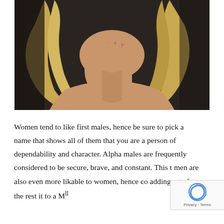[Figure (photo): A woman with long blonde wavy hair, hands clasped together near her chin/neck, looking at camera, studio photo against dark background]
Women tend to like first males, hence be sure to pick a name that shows all of them that you are a person of dependability and character. Alpha males are frequently considered to be secure, brave, and constant. This t men are also even more likable to women, hence co adding p to for the rest it to a M ll